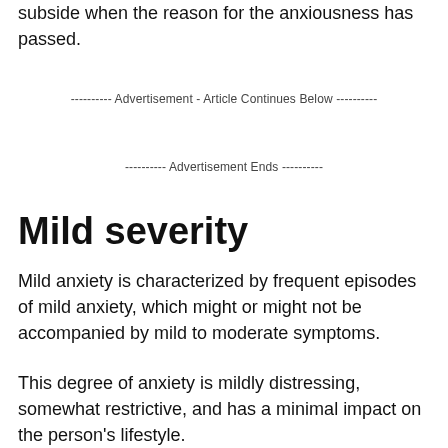subside when the reason for the anxiousness has passed.
---------- Advertisement - Article Continues Below ----------
---------- Advertisement Ends ----------
Mild severity
Mild anxiety is characterized by frequent episodes of mild anxiety, which might or might not be accompanied by mild to moderate symptoms.
This degree of anxiety is mildly distressing, somewhat restrictive, and has a minimal impact on the person's lifestyle.